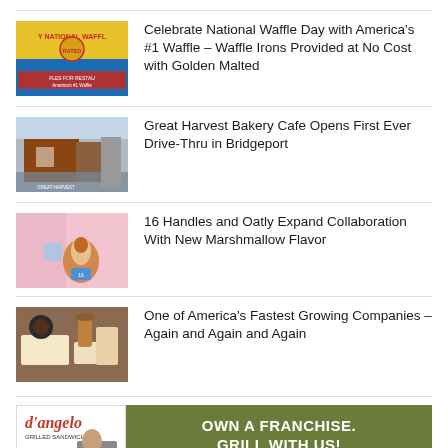[Figure (photo): National Waffle Day branded image with waffle iron and text]
Celebrate National Waffle Day with America's #1 Waffle – Waffle Irons Provided at No Cost with Golden Malted
[Figure (photo): Great Harvest Bakery Cafe exterior building photo]
Great Harvest Bakery Cafe Opens First Ever Drive-Thru in Bridgeport
[Figure (photo): 16 Handles and Oatly soft serve ice cream photo]
16 Handles and Oatly Expand Collaboration With New Marshmallow Flavor
[Figure (photo): Restaurant food and drink spread on table]
One of America's Fastest Growing Companies – Again and Again and Again
[Figure (illustration): D'Angelo Grilled Sandwiches franchise advertisement banner: OWN A FRANCHISE. GRILL WITH US!]
© 2022 Restaurant Magazine. All rights reserved.